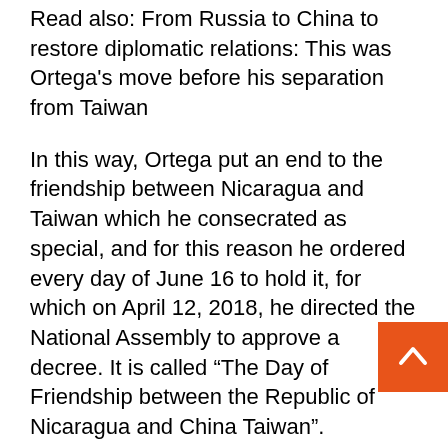Read also: From Russia to China to restore diplomatic relations: This was Ortega's move before his separation from Taiwan
In this way, Ortega put an end to the friendship between Nicaragua and Taiwan which he consecrated as special, and for this reason he ordered every day of June 16 to hold it, for which on April 12, 2018, he directed the National Assembly to approve a decree. It is called “The Day of Friendship between the Republic of Nicaragua and China Taiwan”.
“The Government of the Republic of Nicaragua declares that it recognizes that there is only one China in the world. The People’s Republic of China is the only legitimate government representing all of China, and Taiwan is an inalienable part of Chinese territory.”
Vice President and spokeswoman, Rosario Murillo...